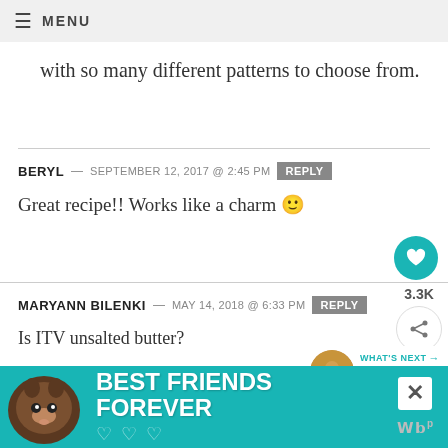≡ MENU
with so many different patterns to choose from.
BERYL — SEPTEMBER 12, 2017 @ 2:45 PM [REPLY]
Great recipe!! Works like a charm 🙂
MARYANN BILENKI — MAY 14, 2018 @ 6:33 PM [REPLY]
Is ITV unsalted butter?
TIDYMOM — MAY 15, 2018 @ 8:50 AM [REPLY]
[Figure (other): Advertisement banner: cat image with 'BEST FRIENDS FOREVER' text on teal background, with close (X) button]